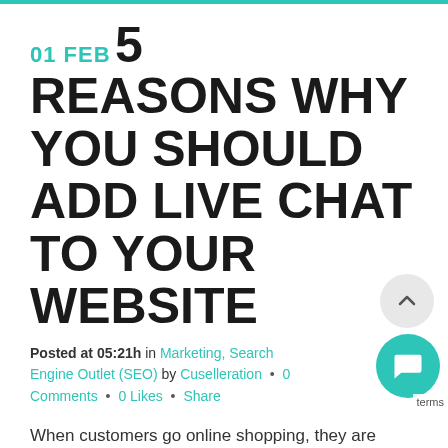01 FEB 5 REASONS WHY YOU SHOULD ADD LIVE CHAT TO YOUR WEBSITE
Posted at 05:21h in Marketing, Search Engine Outlet (SEO) by Cuselleration • 0 Comments • 0 Likes • Share
When customers go online shopping, they are oftentimes disconnected from someone who could answer their questions in real time with precision. Most